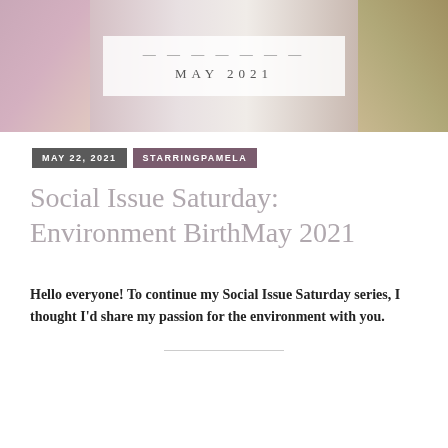[Figure (photo): Header image with semi-transparent white overlay showing blog title text 'MAY 2021', with people and nature visible at edges]
MAY 2021
MAY 22, 2021   STARRINGPAMELA
Social Issue Saturday: Environment BirthMay 2021
Hello everyone! To continue my Social Issue Saturday series, I thought I'd share my passion for the environment with you.
[Figure (photo): Photo of a person wearing a pink/red top outdoors with greenery, with a white overlay at the bottom showing 'StarringPamela' in italic text]